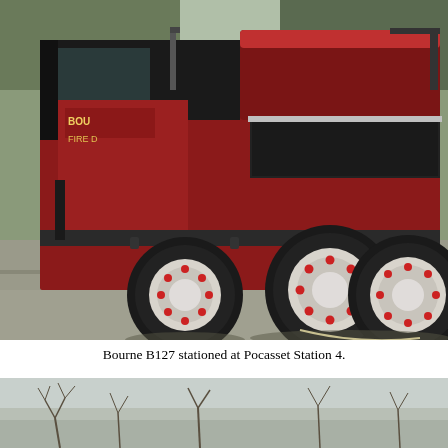[Figure (photo): A red Bourne fire department brush breaker truck (B127) photographed from a side-rear angle in a parking lot, showing the large off-road tires, flat bed, and equipment. The truck has 'BOURNE FIRE DEPT' lettering visible on the side. Trees are visible in the background.]
Bourne B127 stationed at Pocasset Station 4.
[Figure (photo): Partial view of another outdoor scene, showing a light grayish-blue sky and bare tree branches at the bottom of the page.]